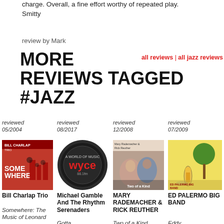charge. Overall, a fine effort worthy of repeated play.
Smitty
review by Mark
MORE REVIEWS TAGGED #JAZZ
all reviews | all jazz reviews
reviewed 05/2004
[Figure (photo): Album cover for Bill Charlap Trio Somewhere - red image with silhouettes]
Bill Charlap Trio
Somewhere: The Music of Leonard
reviewed 08/2017
[Figure (logo): WYCE A World of Music radio logo - dark circular badge with red wyce text]
Michael Gamble And The Rhythm Serenaders
Gotta
reviewed 12/2008
[Figure (photo): Album cover showing two people - Mary Rademacher and Rick Reuther]
MARY RADEMACHER & RICK REUTHER
Two of a Kind
reviewed 07/2009
[Figure (illustration): Ed Palermo Big Band album cover illustration - cartoon figure under a tree]
ED PALERMO BIG BAND
Eddy